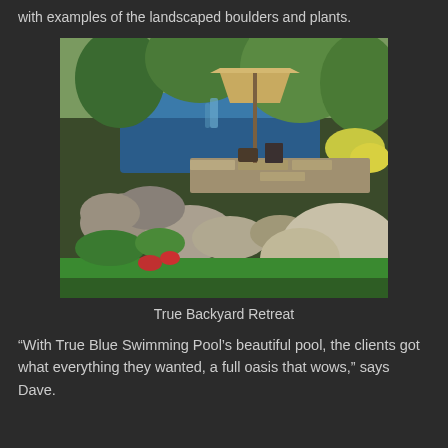with examples of the landscaped boulders and plants.
[Figure (photo): Outdoor backyard retreat featuring a swimming pool with a waterfall, a thatched umbrella/palapa structure, large landscaped boulders, lush green plants, patio furniture, and a curved concrete patio surrounded by green lawn.]
True Backyard Retreat
“With True Blue Swimming Pool’s beautiful pool, the clients got what everything they wanted, a full oasis that wows,” says Dave.